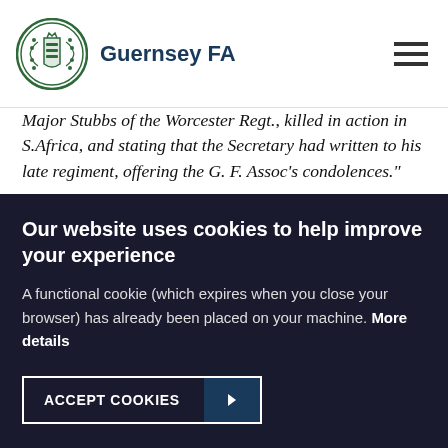Guernsey FA
Major Stubbs of the Worcester Regt., killed in action in S.Africa, and stating that the Secretary had written to his late regiment, offering the G. F. Assoc's condolences."
This was the first, but far from the last, recorded example of military action impacting on the Association's officials and players.
The 1900/01 season also marked for the first recorded...
Our website uses cookies to help improve your experience

A functional cookie (which expires when you close your browser) has already been placed on your machine. More details
ACCEPT COOKIES